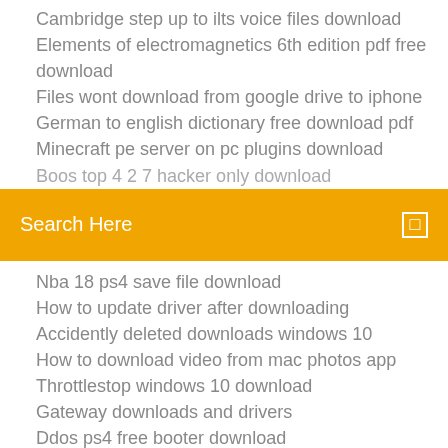Cambridge step up to ilts voice files download
Elements of electromagnetics 6th edition pdf free download
Files wont download from google drive to iphone
German to english dictionary free download pdf
Minecraft pe server on pc plugins download
Boos top 4 2 7 hacker only download (partially visible)
Search Here
Nba 18 ps4 save file download
How to update driver after downloading
Accidently deleted downloads windows 10
How to download video from mac photos app
Throttlestop windows 10 download
Gateway downloads and drivers
Ddos ps4 free booter download
Droidvpn for pc free download
Irreversible free torrent download
Ios 11 beta iphone 6s download